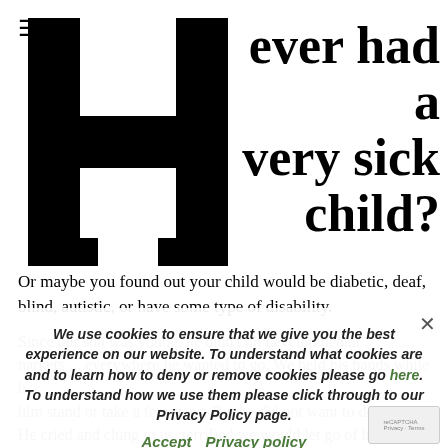≡
ever had a very sick child?
[Figure (illustration): Large bold letter H as a decorative drop capital]
Or maybe you found out your child would be diabetic, deaf, blind, autistic, or have some type of disability.
Since our son was young, he didn't hit developmental markers... everywhere he wanted to go. We held his hands while he watched him stand or take a few steps. But he did not want to do ... He cried and clung to us, terrified we would let go of him.
We use cookies to ensure that we give you the best experience on our website. To understand what cookies are and to learn how to deny or remove cookies please go here. To understand how we use them please click through to our Privacy Policy page.
Accept  Privacy policy